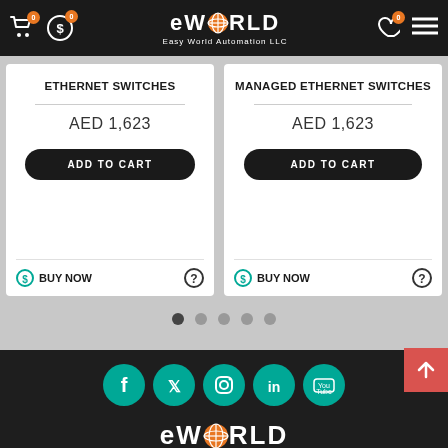[Figure (screenshot): eWORLD Easy World Automation LLC website header with cart and navigation icons]
ETHERNET SWITCHES
AED 1,623
ADD TO CART
BUY NOW
MANAGED ETHERNET SWITCHES
AED 1,623
ADD TO CART
BUY NOW
[Figure (screenshot): Carousel navigation dots, 5 dots with first active]
[Figure (screenshot): Social media icons: Facebook, Twitter, Instagram, LinkedIn, YouTube on teal circles]
[Figure (logo): eWORLD Easy World Automation LLC footer logo with orange globe]